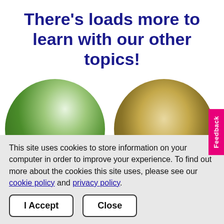There's loads more to learn with our other topics!
[Figure (photo): Two circular cropped photos side by side: left shows a child in green foliage/nature, right shows a warm outdoor path scene]
This site uses cookies to store information on your computer in order to improve your experience. To find out more about the cookies this site uses, please see our cookie policy and privacy policy.
I Accept
Close